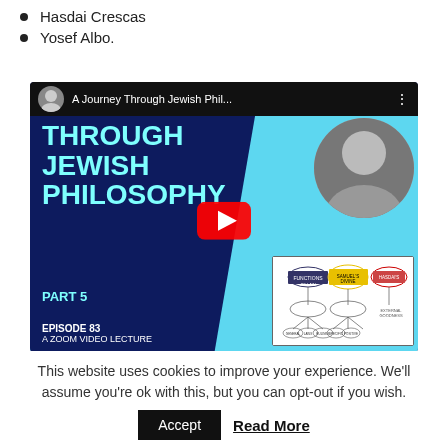Hasdai Crescas
Yosef Albo.
[Figure (screenshot): YouTube video thumbnail for 'A Journey Through Jewish Phil...' by David Solomon. Title reads 'A JOURNEY THROUGH JEWISH PHILOSOPHY PART 5', Episode 63, A Zoom Video Lecture. Shows a play button, a photo of a man, and a diagram chart.]
This website uses cookies to improve your experience. We’ll assume you’re ok with this, but you can opt-out if you wish.
Accept   Read More